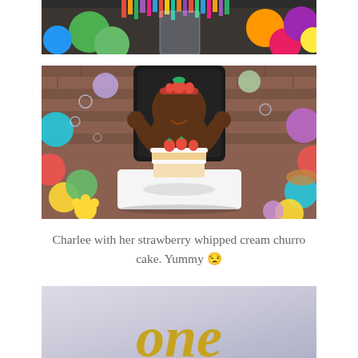[Figure (photo): Partial photo showing colorful balloons and a decorated high chair, cropped at top]
[Figure (photo): Photo of a baby girl named Charlee sitting in a black high chair, smiling with hands raised, wearing a strawberry headband, with a naked cake topped with strawberries in front of her, surrounded by colorful balloons and bubbles against a brick wall background]
Charlee with her strawberry whipped cream churro cake. Yummy 😒
[Figure (photo): Partial photo of a silver/gray background with the word 'one' written in gold cursive script, cropped at bottom of page]